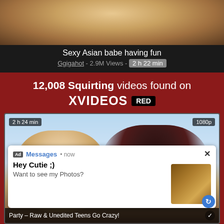[Figure (photo): Thumbnail image of a person at the top of the page]
Sexy Asian babe having fun
Ggigahot - 2.9M Views - 2 h 22 min
12,008 Squirting videos found on XVIDEOS RED
[Figure (photo): Video thumbnail showing two women, one blonde and one dark-haired, with overlay advertisement. Badge shows 2 h 24 min and 1080p. Ad overlay shows Messages now, Hey Cutie ;) Want to see my Photos? Bottom bar: Party – Raw & Unedited Teens Go Crazy!]
[Figure (photo): Partial thumbnail of next video at the bottom]